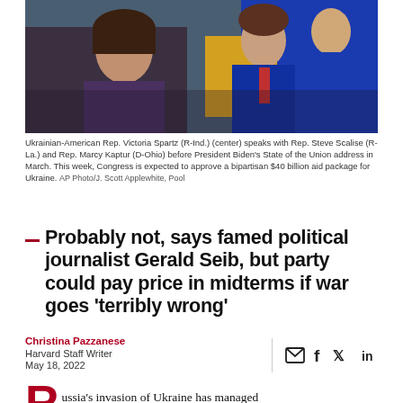[Figure (photo): Photo of Ukrainian-American Rep. Victoria Spartz (R-Ind.) (center) speaking with Rep. Steve Scalise (R-La.) and Rep. Marcy Kaptur (D-Ohio) before President Biden's State of the Union address in March.]
Ukrainian-American Rep. Victoria Spartz (R-Ind.) (center) speaks with Rep. Steve Scalise (R-La.) and Rep. Marcy Kaptur (D-Ohio) before President Biden's State of the Union address in March. This week, Congress is expected to approve a bipartisan $40 billion aid package for Ukraine. AP Photo/J. Scott Applewhite, Pool
Probably not, says famed political journalist Gerald Seib, but party could pay price in midterms if war goes 'terribly wrong'
Christina Pazzanese
Harvard Staff Writer
May 18, 2022
Russia's invasion of Ukraine has managed